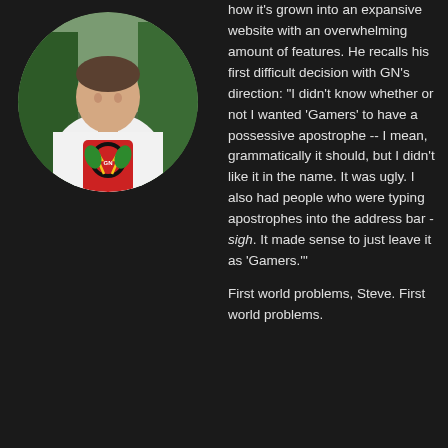[Figure (photo): Circular avatar photo of a person wearing a white t-shirt with a colorful graphic design, outdoors with trees in background]
how it's grown into an expansive website with an overwhelming amount of features. He recalls his first difficult decision with GN's direction: "I didn't know whether or not I wanted 'Gamers' to have a possessive apostrophe -- I mean, grammatically it should, but I didn't like it in the name. It was ugly. I also had people who were typing apostrophes into the address bar - sigh. It made sense to just leave it as 'Gamers.'"
First world problems, Steve. First world problems.